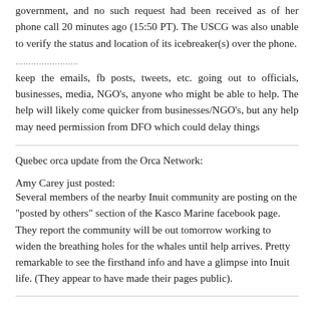government, and no such request had been received as of her phone call 20 minutes ago (15:50 PT). The USCG was also unable to verify the status and location of its icebreaker(s) over the phone.
........................
keep the emails, fb posts, tweets, etc. going out to officials, businesses, media, NGO's, anyone who might be able to help. The help will likely come quicker from businesses/NGO's, but any help may need permission from DFO which could delay things
Quebec orca update from the Orca Network:
Amy Carey just posted:
Several members of the nearby Inuit community are posting on the "posted by others" section of the Kasco Marine facebook page. They report the community will be out tomorrow working to widen the breathing holes for the whales until help arrives. Pretty remarkable to see the firsthand info and have a glimpse into Inuit life. (They appear to have made their pages public).